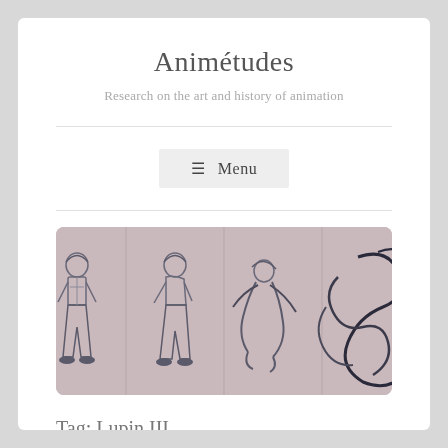Animétudes
Research on the art and history of animation
≡ Menu
[Figure (illustration): Four sequential animation sketch panels on a dusty rose/mauve background showing a boy character progressively morphing from a standing pose into an abstract swirling form, reminiscent of animation key frames for Lupin III or similar anime.]
Tag: Lupin III